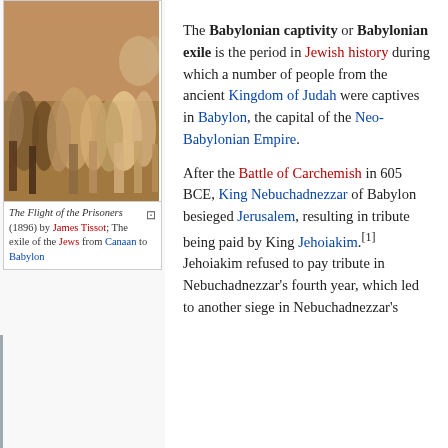[Figure (photo): Painting titled 'The Flight of the Prisoners' (1896) by James Tissot, depicting the exile of the Jews from Canaan to Babylon]
The Flight of the Prisoners (1896) by James Tissot; The exile of the Jews from Canaan to Babylon
The Babylonian captivity or Babylonian exile is the period in Jewish history during which a number of people from the ancient Kingdom of Judah were captives in Babylon, the capital of the Neo-Babylonian Empire.
After the Battle of Carchemish in 605 BCE, King Nebuchadnezzar of Babylon besieged Jerusalem, resulting in tribute being paid by King Jehoiakim.[1] Jehoiakim refused to pay tribute in Nebuchadnezzar's fourth year, which led to another siege in Nebuchadnezzar's